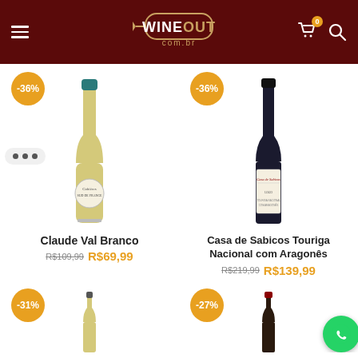WINEOUT com.br
[Figure (screenshot): Wine product card: Claude Val Branco, -36% discount badge, white wine bottle image, old price R$109,99 crossed out, new price R$69,99]
[Figure (screenshot): Wine product card: Casa de Sabicos Touriga Nacional com Aragonês, -36% discount badge, red wine bottle image, old price R$219,99 crossed out, new price R$139,99]
[Figure (screenshot): Wine product card partial: -31% discount badge, white wine bottle partially visible]
[Figure (screenshot): Wine product card partial: -27% discount badge, red wine bottle partially visible, WhatsApp button overlay]